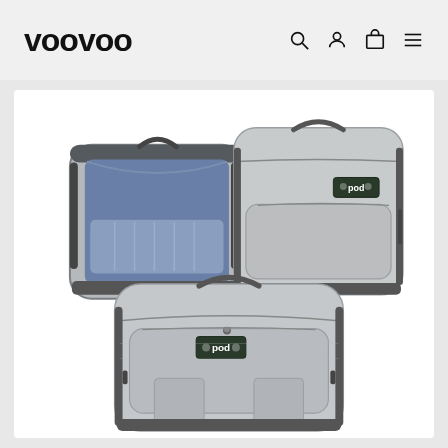VOOVOO
[Figure (photo): Three grey fabric bags/backpacks with 'pod' branding labels. One open bag on the left showing a blue interior lining, one closed bag in the upper right, and one larger backpack in the foreground. All bags are gray woven fabric with dark trim and zipper details.]